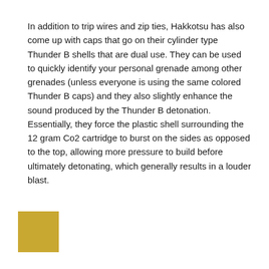In addition to trip wires and zip ties, Hakkotsu has also come up with caps that go on their cylinder type Thunder B shells that are dual use. They can be used to quickly identify your personal grenade among other grenades (unless everyone is using the same colored Thunder B caps) and they also slightly enhance the sound produced by the Thunder B detonation. Essentially, they force the plastic shell surrounding the 12 gram Co2 cartridge to burst on the sides as opposed to the top, allowing more pressure to build before ultimately detonating, which generally results in a louder blast.
[Figure (other): A gold/yellow colored square swatch]